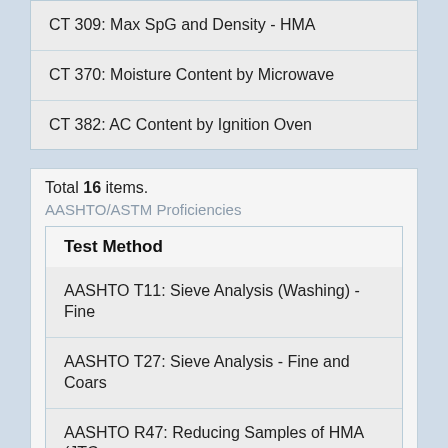CT 309: Max SpG and Density - HMA
CT 370: Moisture Content by Microwave
CT 382: AC Content by Ignition Oven
Total 16 items.
AASHTO/ASTM Proficiencies
| Test Method |
| --- |
| AASHTO T11: Sieve Analysis (Washing) - Fine |
| AASHTO T27: Sieve Analysis - Fine and Coars |
| AASHTO R47: Reducing Samples of HMA (JTC |
| AASHTO R76: Reducing Samples of Agg (JTC |
| AASHTO T166: Bulk SpG of Compacted HMA - |
| AASHTO T176: Sand Equivalent (JTCP) |